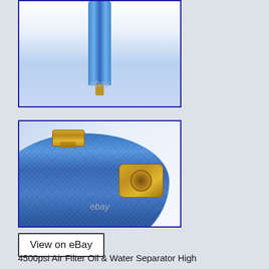[Figure (photo): Close-up top view of a blue anodized aluminum air filter cylinder with a brass fitting at the bottom, showing the top portion of the device against a white background. eBay watermark visible.]
[Figure (photo): Close-up bottom view of a blue anodized aluminum air filter/water separator body with knurled texture, a brass bleed screw on top, and a brass quick-connect fitting on the side. eBay watermark visible.]
View on eBay
4500psi Air Filter Oil & Water Separator High